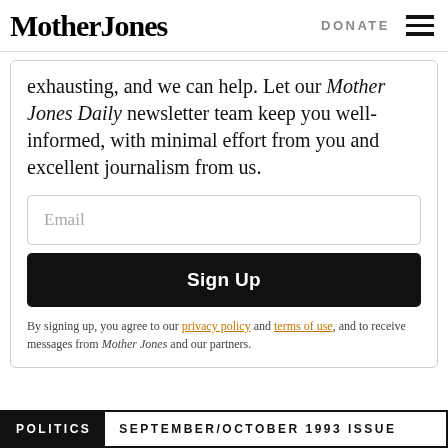Mother Jones | DONATE
exhausting, and we can help. Let our Mother Jones Daily newsletter team keep you well-informed, with minimal effort from you and excellent journalism from us.
Email
Sign Up
By signing up, you agree to our privacy policy and terms of use, and to receive messages from Mother Jones and our partners.
POLITICS | SEPTEMBER/OCTOBER 1993 ISSUE